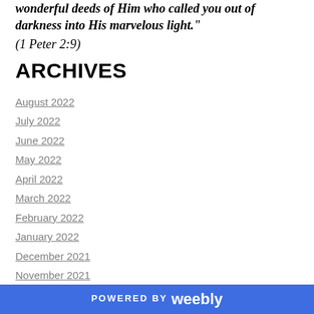wonderful deeds of Him who called you out of darkness into His marvelous light." (1 Peter 2:9)
ARCHIVES
August 2022
July 2022
June 2022
May 2022
April 2022
March 2022
February 2022
January 2022
December 2021
November 2021
October 2021
September 2021
POWERED BY weebly